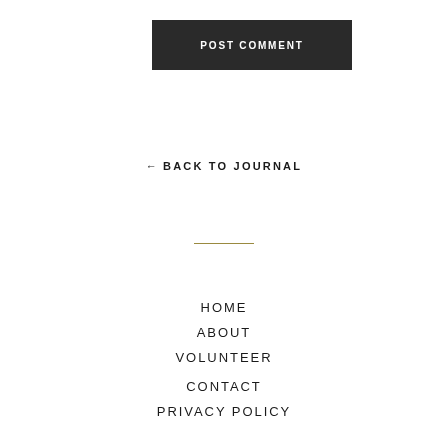[Figure (other): Dark button with text POST COMMENT in white uppercase bold letters]
← BACK TO JOURNAL
[Figure (other): Thin horizontal gold/olive colored divider line]
HOME
ABOUT
VOLUNTEER
CONTACT
PRIVACY POLICY